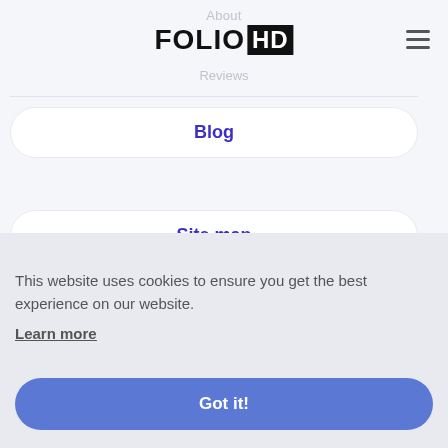About
FOLIO HD
Reviews
Blog
Site map
Support
This website uses cookies to ensure you get the best experience on our website.
Learn more
Got it!